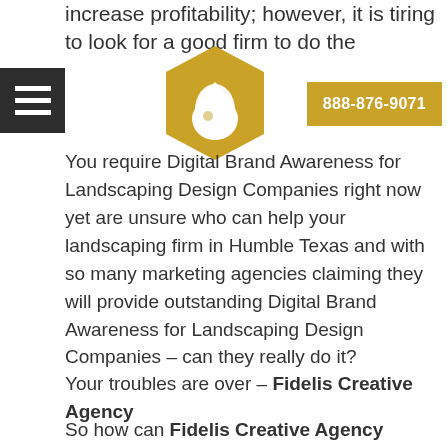increase profitability; however, it is tiring to look for a good firm to do the
[Figure (logo): Hamburger menu icon - dark square with three white horizontal lines]
[Figure (logo): Gold hexagon logo with white water droplet icon inside]
[Figure (other): Gold/yellow button with phone number 888-876-9071 in white text]
You require Digital Brand Awareness for Landscaping Design Companies right now yet are unsure who can help your landscaping firm in Humble Texas and with so many marketing agencies claiming they will provide outstanding Digital Brand Awareness for Landscaping Design Companies – can they really do it?
Your troubles are over – Fidelis Creative Agency is here to grow your landscaping company's bottom line!
So how can Fidelis Creative Agency furnish